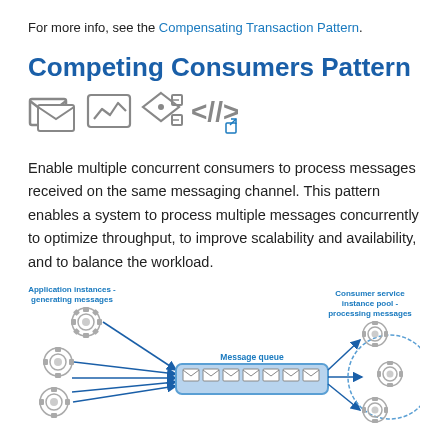For more info, see the Compensating Transaction Pattern.
Competing Consumers Pattern
[Figure (infographic): Four icons: envelope (messaging), analytics chart, workflow/diamond diagram, code brackets with external link symbol]
Enable multiple concurrent consumers to process messages received on the same messaging channel. This pattern enables a system to process multiple messages concurrently to optimize throughput, to improve scalability and availability, and to balance the workload.
[Figure (engineering-diagram): Architecture diagram showing Application instances generating messages (gear icons on left) sending to a Message queue (row of envelope icons in a rounded rectangle), then Consumer service instance pool processing messages (gear icons on right within a circle). Arrows flow left-to-right.]